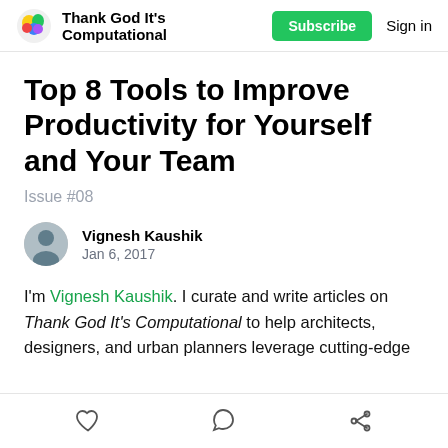Thank God It's Computational  Subscribe  Sign in
Top 8 Tools to Improve Productivity for Yourself and Your Team
Issue #08
Vignesh Kaushik
Jan 6, 2017
I'm Vignesh Kaushik. I curate and write articles on Thank God It's Computational to help architects, designers, and urban planners leverage cutting-edge
[heart icon] [comment icon] [share icon]